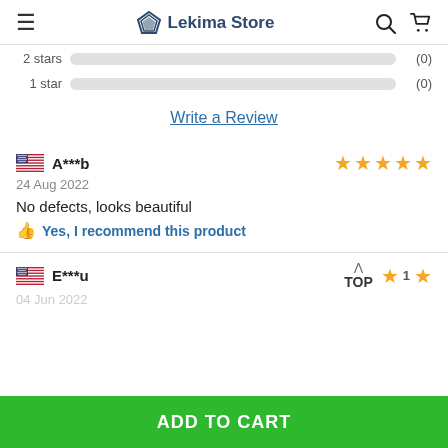Lekima Store
2 stars (0)
1 star (0)
Write a Review
A***b — 5 stars — 24 Aug 2022 — No defects, looks beautiful — Yes, I recommend this product
E***u — 1 star — TOP